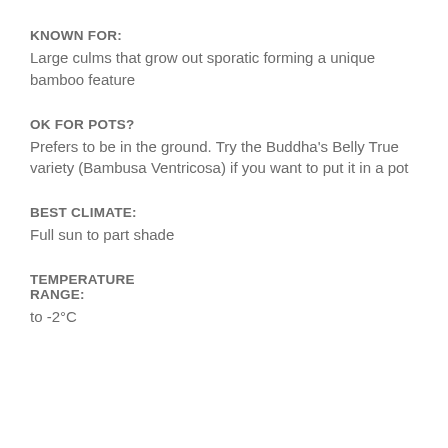KNOWN FOR:
Large culms that grow out sporatic forming a unique bamboo feature
OK FOR POTS?
Prefers to be in the ground. Try the Buddha's Belly True variety (Bambusa Ventricosa) if you want to put it in a pot
BEST CLIMATE:
Full sun to part shade
TEMPERATURE RANGE:
to -2°C